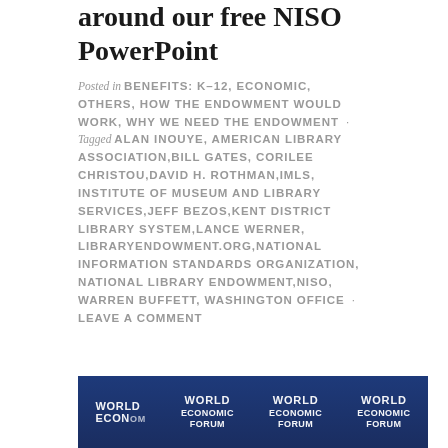around our free NISO PowerPoint
Posted in BENEFITS: K-12, ECONOMIC, OTHERS, HOW THE ENDOWMENT WOULD WORK, WHY WE NEED THE ENDOWMENT · Tagged ALAN INOUYE, AMERICAN LIBRARY ASSOCIATION, BILL GATES, CORILEE CHRISTOU, DAVID H. ROTHMAN, IMLS, INSTITUTE OF MUSEUM AND LIBRARY SERVICES, JEFF BEZOS, KENT DISTRICT LIBRARY SYSTEM, LANCE WERNER, LIBRARYENDOWMENT.ORG, NATIONAL INFORMATION STANDARDS ORGANIZATION, NATIONAL LIBRARY ENDOWMENT, NISO, WARREN BUFFETT, WASHINGTON OFFICE · LEAVE A COMMENT
[Figure (photo): Partially visible photo showing World Economic Forum signage/backdrop in blue and white, repeated across the image]